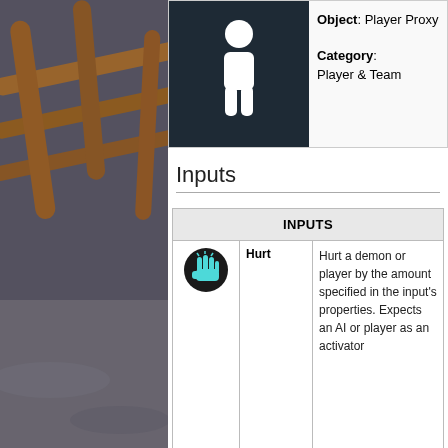[Figure (photo): Photo of bamboo/wooden railing structure in a game environment, dark and tan tones, partially showing steps or ramps]
[Figure (illustration): Dark background icon showing a white human figure/player proxy silhouette]
Object: Player Proxy
Category: Player & Team
Inputs
| INPUTS |  |  |
| --- | --- | --- |
| [hurt hand icon] | Hurt | Hurt a demon or player by the amount specified in the input's properties. Expects an AI or player as an activator |